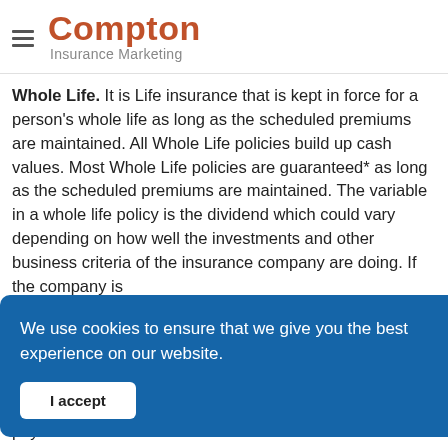Compton Insurance Marketing
Whole Life. It is Life insurance that is kept in force for a person's whole life as long as the scheduled premiums are maintained. All Whole Life policies build up cash values. Most Whole Life policies are guaranteed* as long as the scheduled premiums are maintained. The variable in a whole life policy is the dividend which could vary depending on how well the investments and other business criteria of the insurance company are doing. If the company is
We use cookies to ensure that we give you the best experience on our website.
I accept
pay for term insurance.